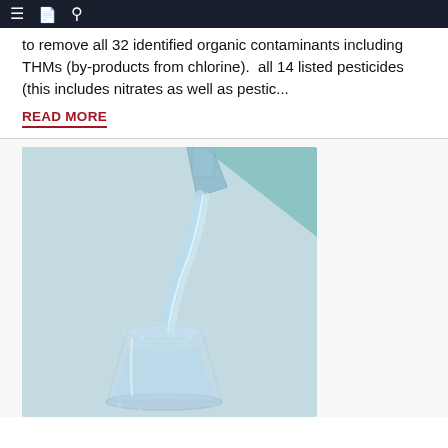Navigation bar with menu, book, and search icons
to remove all 32 identified organic contaminants including THMs (by-products from chlorine). all 14 listed pesticides (this includes nitrates as well as pestic...
READ MORE
[Figure (photo): Photo of water being poured from a glass bottle or pitcher into a clear drinking glass, with a light blue background and teal/green upper right area.]